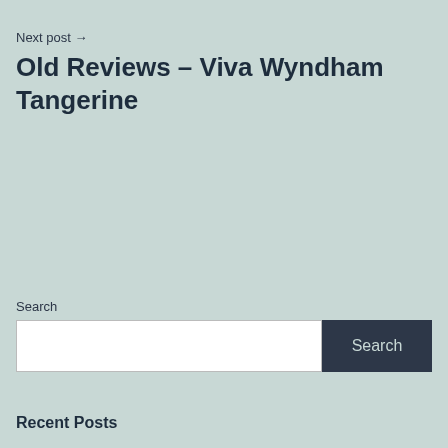Next post →
Old Reviews – Viva Wyndham Tangerine
Search
Search
Recent Posts